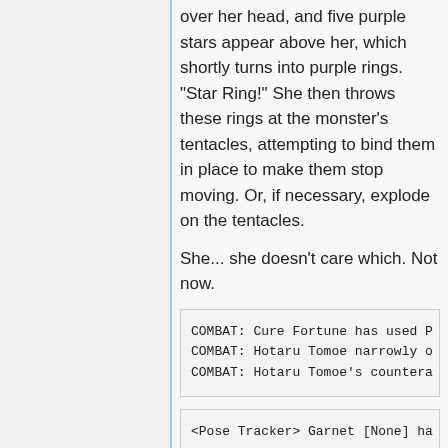over her head, and five purple stars appear above her, which shortly turns into purple rings. "Star Ring!" She then throws these rings at the monster's tentacles, attempting to bind them in place to make them stop moving. Or, if necessary, explode on the tentacles.
She... she doesn't care which. Not now.
COMBAT: Cure Fortune has used P
COMBAT: Hotaru Tomoe narrowly o
COMBAT: Hotaru Tomoe's countera
<Pose Tracker> Garnet [None] ha
The electricity she channels into the demon is reflected in Garnet's shades.
But quickly that light is eclipsed by the warm powerful glow of uncountable